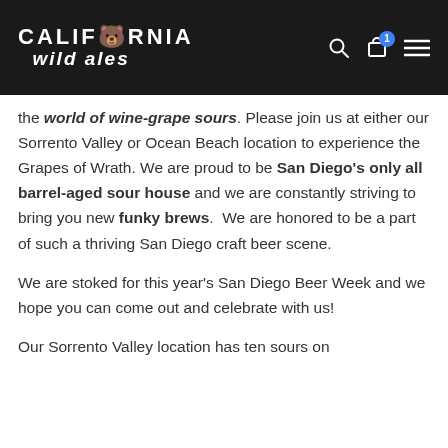[Figure (logo): California Wild Ales logo in white text on dark background header, with search, cart (badge: 1), and hamburger menu icons]
the world of wine-grape sours. Please join us at either our Sorrento Valley or Ocean Beach location to experience the Grapes of Wrath. We are proud to be San Diego's only all barrel-aged sour house and we are constantly striving to bring you new funky brews.  We are honored to be a part of such a thriving San Diego craft beer scene.
We are stoked for this year's San Diego Beer Week and we hope you can come out and celebrate with us!
Our Sorrento Valley location has ten sours on